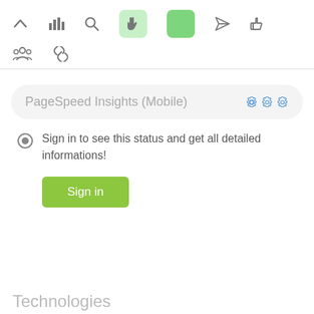[Figure (screenshot): Top navigation toolbar row 1 with icons: up arrow, bar chart, search, hand pointer (light green background), green square button, send/paper plane, thumbs up]
[Figure (screenshot): Second toolbar row with group/people icon and chain link icon]
PageSpeed Insights (Mobile)
Sign in to see this status and get all detailed informations!
Sign in
Technologies